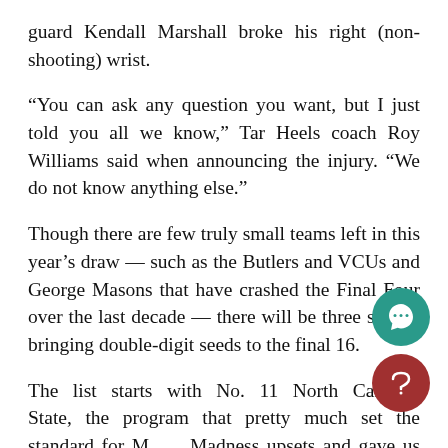guard Kendall Marshall broke his right (non-shooting) wrist.
“You can ask any question you want, but I just told you all we know,” Tar Heels coach Roy Williams said when announcing the injury. “We do not know anything else.”
Though there are few truly small teams left in this year’s draw — such as the Butlers and VCUs and George Masons that have crashed the Final Four over the last decade — there will be three squads bringing double-digit seeds to the final 16.
The list starts with No. 11 North Carolina State, the program that pretty much set the standard for March Madness upsets and gave us one of the most memorable moments in college sports: Coach Valvano running around the floor at The Pit, loo…